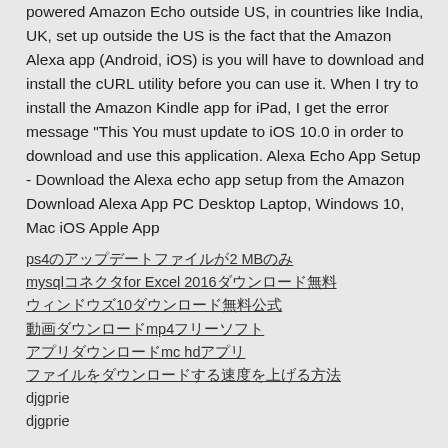powered Amazon Echo outside US, in countries like India, UK, set up outside the US is the fact that the Amazon Alexa app (Android, iOS) is you will have to download and install the cURL utility before you can use it. When I try to install the Amazon Kindle app for iPad, I get the error message "This You must update to iOS 10.0 in order to download and use this application. Alexa Echo App Setup - Download the Alexa echo app setup from the Amazon Download Alexa App PC Desktop Laptop, Windows 10, Mac iOS Apple App
ps4のアップデートファイルが2 MBのみ
mysqlコネクタfor Excel 2016ダウンロード無料
ウィンドウズ10ダウンロード無料公式
動画ダウンロードmp4フリーソフト
アプリダウンロードmc hdアプリ
ファイルをダウンロードする速度を上げる方法
djgprie
djgprie